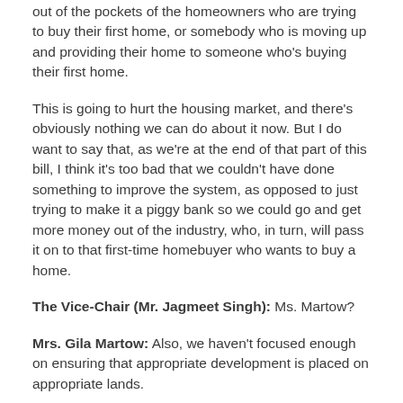out of the pockets of the homeowners who are trying to buy their first home, or somebody who is moving up and providing their home to someone who's buying their first home.
This is going to hurt the housing market, and there's obviously nothing we can do about it now. But I do want to say that, as we're at the end of that part of this bill, I think it's too bad that we couldn't have done something to improve the system, as opposed to just trying to make it a piggy bank so we could go and get more money out of the industry, who, in turn, will pass it on to that first-time homebuyer who wants to buy a home.
The Vice-Chair (Mr. Jagmeet Singh): Ms. Martow?
Mrs. Gila Martow: Also, we haven't focused enough on ensuring that appropriate development is placed on appropriate lands.
I think this bill would be enhanced by clarifying the intent